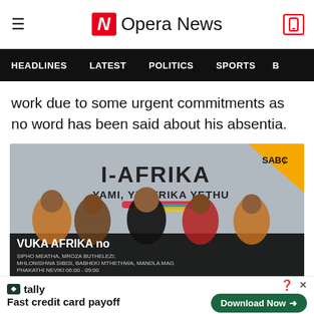Opera News
HEADLINES   LATEST   POLITICS   SPORTS
work due to some urgent commitments as no word has been said about his absentia.
[Figure (photo): SABC I-Afrika Yami, Yi-Afrika Yethu show promotional image with group of five performers and Ukhozi FM branding. Text reads: VUKA AFRIKA no, Sipho Meatha, Mroza Buthelezi, Mhlonishwa Sibisi, Babheki Mthethwa, Mandla Magi, Phakathi Neviki 06:00 - 09:00]
tally   Fast credit card payoff   Download Now →